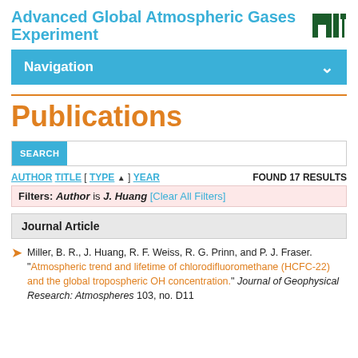Advanced Global Atmospheric Gases Experiment
Navigation
Publications
SEARCH
AUTHOR  TITLE  [ TYPE ]  YEAR    FOUND 17 RESULTS
Filters: Author is J. Huang [Clear All Filters]
Journal Article
Miller, B. R., J. Huang, R. F. Weiss, R. G. Prinn, and P. J. Fraser. "Atmospheric trend and lifetime of chlorodifluoromethane (HCFC-22) and the global tropospheric OH concentration." Journal of Geophysical Research: Atmospheres 103, no. D11